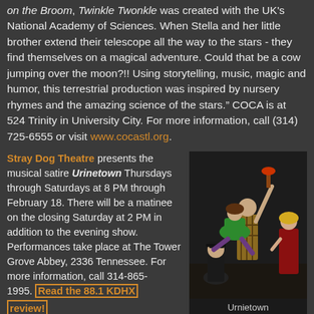on the Broom, Twinkle Twonkle was created with the UK's National Academy of Sciences. When Stella and her little brother extend their telescope all the way to the stars - they find themselves on a magical adventure. Could that be a cow jumping over the moon?!! Using storytelling, music, magic and humor, this terrestrial production was inspired by nursery rhymes and the amazing science of the stars.” COCA is at 524 Trinity in University City. For more information, call (314) 725-6555 or visit www.cocastl.org.
Stray Dog Theatre presents the musical satire Urinetown Thursdays through Saturdays at 8 PM through February 18. There will be a matinee on the closing Saturday at 2 PM in addition to the evening show. Performances take place at The Tower Grove Abbey, 2336 Tennessee. For more information, call 314-865-1995. Read the 88.1 KDHX review!
[Figure (photo): Theatrical production photo showing four actors on stage in costume, one being lifted in a green dress]
Urnietown